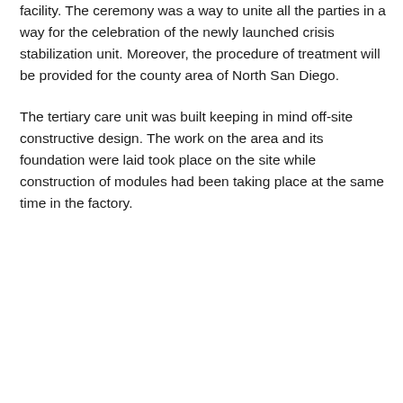facility. The ceremony was a way to unite all the parties in a way for the celebration of the newly launched crisis stabilization unit. Moreover, the procedure of treatment will be provided for the county area of North San Diego.
The tertiary care unit was built keeping in mind off-site constructive design. The work on the area and its foundation were laid took place on the site while construction of modules had been taking place at the same time in the factory.